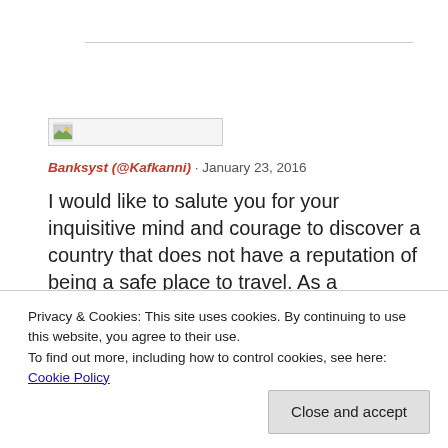[Figure (illustration): Broken/placeholder image thumbnail with small landscape icon, shown inside a bordered rectangle]
Banksyst (@Kafkanni) · January 23, 2016
I would like to salute you for your inquisitive mind and courage to discover a country that does not have a reputation of being a safe place to travel. As a compatriot, I am
Privacy & Cookies: This site uses cookies. By continuing to use this website, you agree to their use.
To find out more, including how to control cookies, see here: Cookie Policy
Close and accept
unadulterated hatred towards Saudi Arabia